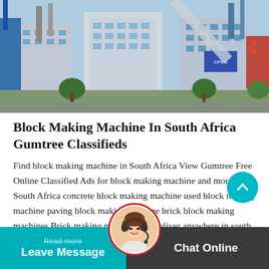[Figure (photo): Industrial factory/plant building complex with cranes, tall structures, blue equipment, and trees in the background.]
Block Making Machine In South Africa Gumtree Classifieds
Find block making machine in South Africa View Gumtree Free Online Classified Ads for block making machine and more in South Africa concrete block making machine used block making machine paving block making machine brick block making machines Brick making machines for deliver anywhere in south africaMaxi10 per drop maxi
Read more | Leave Message | Chat Online